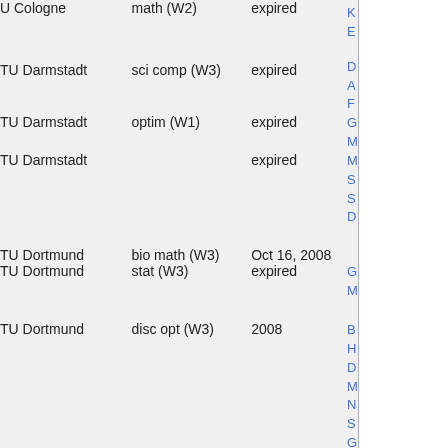| Institution | Field | Status | Link |
| --- | --- | --- | --- |
| U Cologne | math (W2) | expired |  |
| TU Darmstadt | sci comp (W3) | expired |  |
| TU Darmstadt | optim (W1) | expired |  |
| TU Darmstadt |  | expired |  |
| TU Dortmund | bio math (W3) | Oct 16, 2008 |  |
| TU Dortmund | stat (W3) | expired |  |
| TU Dortmund | disc opt (W3) | 2008 |  |